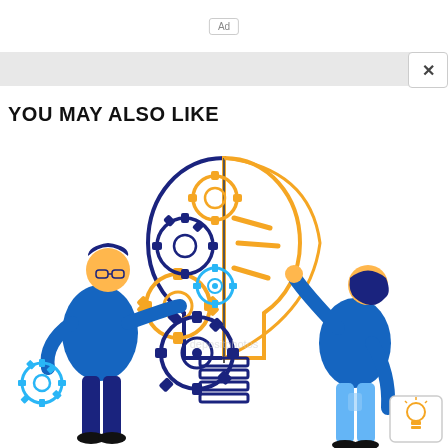Ad
YOU MAY ALSO LIKE
[Figure (illustration): Flat vector illustration showing two people working with a giant lightbulb split in half: left half shows dark blue gears/cogs being arranged by a man in blue, right half shows yellow lightbulb filaments being touched by a woman in blue. A small lightbulb icon card is in the bottom right corner. Watermark text visible in center.]